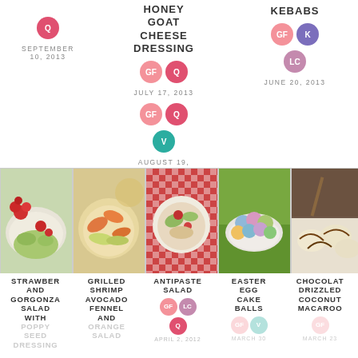Q · SEPTEMBER 10, 2013
HONEY GOAT CHEESE DRESSING
GF Q V · AUGUST 19, 2013
KEBABS
GF K LC · JUNE 20, 2013
[Figure (photo): Strawberry salad in white bowl]
[Figure (photo): Grilled shrimp avocado fennel and orange salad]
[Figure (photo): Antipasto salad on checkered background]
[Figure (photo): Easter egg cake balls in basket on grass]
[Figure (photo): Chocolate drizzled coconut macaroons on white surface]
STRAWBERRY AND GORGONZOLA SALAD WITH POPPY SEED DRESSING
GRILLED SHRIMP AVOCADO FENNEL AND ORANGE SALAD
ANTIPASTO SALAD · GF LC Q · APRIL 2, 2012
EASTER EGG CAKE BALLS · MARCH 30
CHOCOLATE DRIZZLED COCONUT MACAROO · MARCH 23